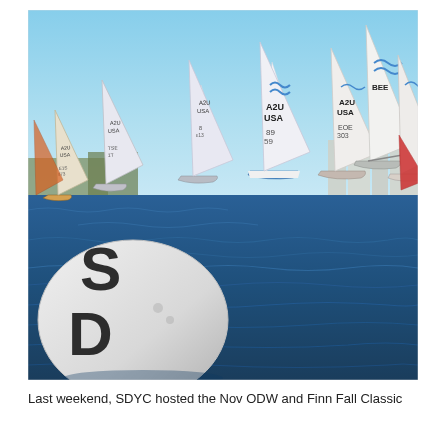[Figure (photo): Sailing race photo showing multiple sailboats with white sails marked 'A2U USA' rounding a large white buoy marked 'SD' in blue choppy water. City skyline visible in background under a clear blue sky.]
Last weekend, SDYC hosted the Nov ODW and Finn Fall Classic